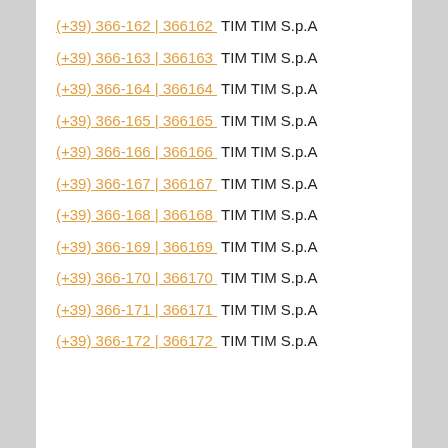(+39) 366-162 | 366162 TIM TIM S.p.A
(+39) 366-163 | 366163 TIM TIM S.p.A
(+39) 366-164 | 366164 TIM TIM S.p.A
(+39) 366-165 | 366165 TIM TIM S.p.A
(+39) 366-166 | 366166 TIM TIM S.p.A
(+39) 366-167 | 366167 TIM TIM S.p.A
(+39) 366-168 | 366168 TIM TIM S.p.A
(+39) 366-169 | 366169 TIM TIM S.p.A
(+39) 366-170 | 366170 TIM TIM S.p.A
(+39) 366-171 | 366171 TIM TIM S.p.A
(+39) 366-172 | 366172 TIM TIM S.p.A